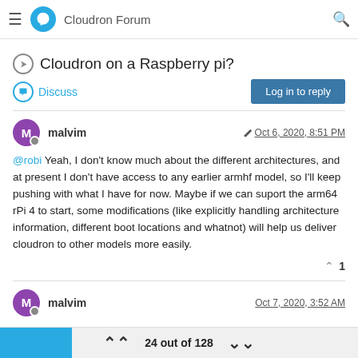Cloudron Forum
Cloudron on a Raspberry pi?
Discuss
Log in to reply
malvim   Oct 6, 2020, 8:51 PM
@robi Yeah, I don't know much about the different architectures, and at present I don't have access to any earlier armhf model, so I'll keep pushing with what I have for now. Maybe if we can suport the arm64 rPi 4 to start, some modifications (like explicitly handling architecture information, different boot locations and whatnot) will help us deliver cloudron to other models more easily.
malvim   Oct 7, 2020, 3:52 AM
24 out of 128